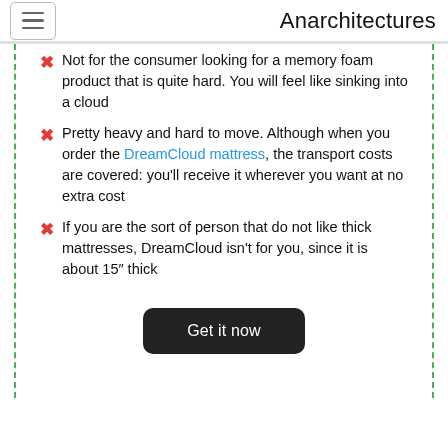Anarchitectures
Not for the consumer looking for a memory foam product that is quite hard. You will feel like sinking into a cloud
Pretty heavy and hard to move. Although when you order the DreamCloud mattress, the transport costs are covered: you'll receive it wherever you want at no extra cost
If you are the sort of person that do not like thick mattresses, DreamCloud isn't for you, since it is about 15″ thick
Get it now